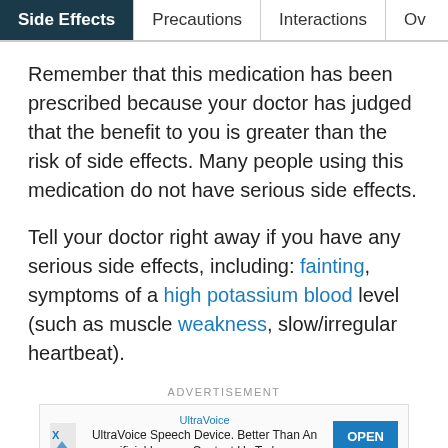Side Effects | Precautions | Interactions | Ov...
Remember that this medication has been prescribed because your doctor has judged that the benefit to you is greater than the risk of side effects. Many people using this medication do not have serious side effects.
Tell your doctor right away if you have any serious side effects, including: fainting, symptoms of a high potassium blood level (such as muscle weakness, slow/irregular heartbeat).
ADVERTISEMENT
[Figure (screenshot): Advertisement banner: UltraVoice Speech Device. Better Than An... ificial Larynx. Contact Us Today. OPEN button. X/ad icon.]